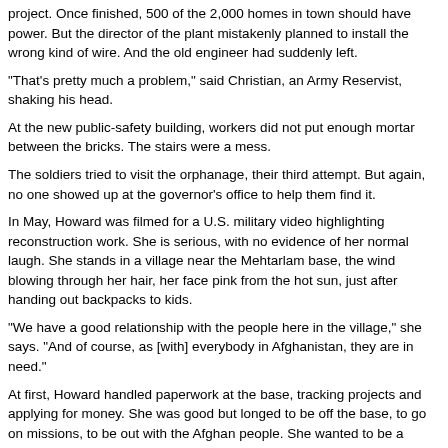project. Once finished, 500 of the 2,000 homes in town should have power. But the director of the plant mistakenly planned to install the wrong kind of wire. And the old engineer had suddenly left.
"That's pretty much a problem," said Christian, an Army Reservist, shaking his head.
At the new public-safety building, workers did not put enough mortar between the bricks. The stairs were a mess.
The soldiers tried to visit the orphanage, their third attempt. But again, no one showed up at the governor's office to help them find it.
In May, Howard was filmed for a U.S. military video highlighting reconstruction work. She is serious, with no evidence of her normal laugh. She stands in a village near the Mehtarlam base, the wind blowing through her hair, her face pink from the hot sun, just after handing out backpacks to kids.
"We have a good relationship with the people here in the village," she says. "And of course, as [with] everybody in Afghanistan, they are in need."
At first, Howard handled paperwork at the base, tracking projects and applying for money. She was good but longed to be off the base, to go on missions, to be out with the Afghan people. She wanted to be a gunner.
"She wanted to do everything," said Air Force Tech. Sgt. Felicia Mason, 37, who later became Howard's roommate. "She wanted to be able to excel in everything. Because she didn't want anyone to say she couldn't do it because she was a woman."